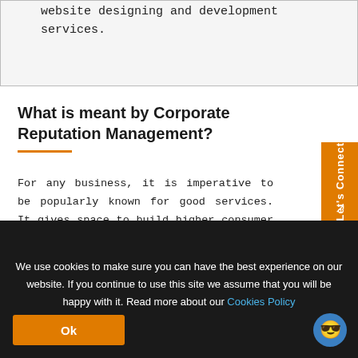website designing and development services.
What is meant by Corporate Reputation Management?
For any business, it is imperative to be popularly known for good services. It gives space to build higher consumer trust, there are better talents found at your firm, and thereby you invite higher profits. If you have a goal to achieve this, we can offer some professional advice and needed help. Our corporate reputation management services are specific...
We use cookies to make sure you can have the best experience on our website. If you continue to use this site we assume that you will be happy with it. Read more about our Cookies Policy
Ok